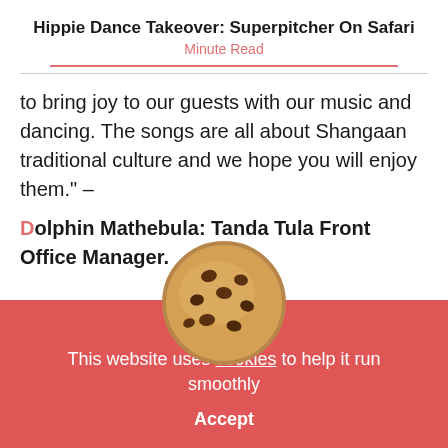Hippie Dance Takeover: Superpitcher On Safari
Minute Read
to bring joy to our guests with our music and dancing. The songs are all about Shangaan traditional culture and we hope you will enjoy them." –
Dolphin Mathebula: Tanda Tula Front Office Manager.
[Figure (illustration): Cookie emoji - a round chocolate chip cookie illustration]
This website uses cookies to help it run smoothly
Accept